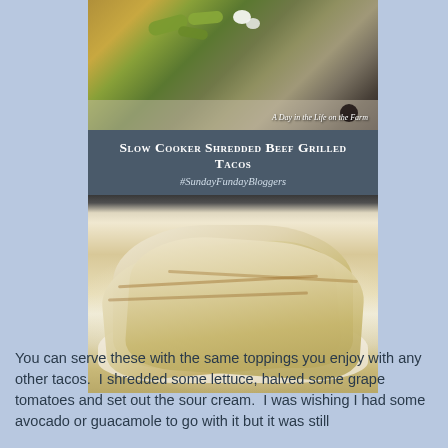[Figure (photo): Top-down view of a taco with shredded lettuce, sour cream, and toppings on a plate, with text overlay 'A Day in the Life on the Farm']
Slow Cooker Shredded Beef Grilled Tacos
#SundayFundayBloggers
[Figure (photo): Close-up of grilled flour tortilla tacos folded on a white plate, golden brown from grilling]
You can serve these with the same toppings you enjoy with any other tacos.  I shredded some lettuce, halved some grape tomatoes and set out the sour cream.  I was wishing I had some avocado or guacamole to go with it but it was still